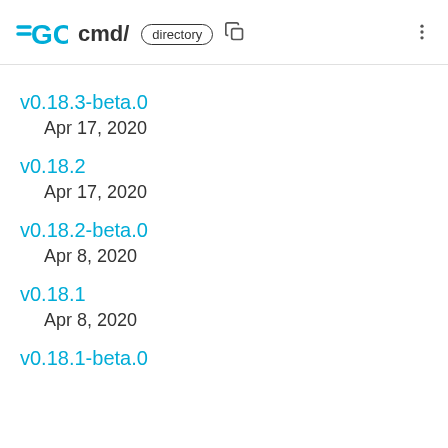GO cmd/ directory
v0.18.3-beta.0
    Apr 17, 2020
v0.18.2
    Apr 17, 2020
v0.18.2-beta.0
    Apr 8, 2020
v0.18.1
    Apr 8, 2020
v0.18.1-beta.0